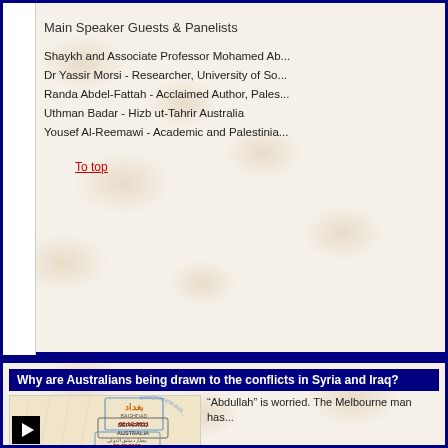Main Speaker Guests & Panelists
Shaykh and Associate Professor Mohamed Ab...
Dr Yassir Morsi - Researcher, University of So...
Randa Abdel-Fattah - Acclaimed Author, Pales...
Uthman Badar - Hizb ut-Tahrir Australia
Yousef Al-Reemawi - Academic and Palestinia...
To top
Why are Australians being drawn to the conflicts in Syria and Iraq?
[Figure (photo): Passport stamps image showing Baghdad (06.12.2011) and Damascus (06.08.2012) stamps with 'DEPARTED AUSTRALIA' stamp and play button overlay]
“Abdullah” is worried. The Melbourne man has...